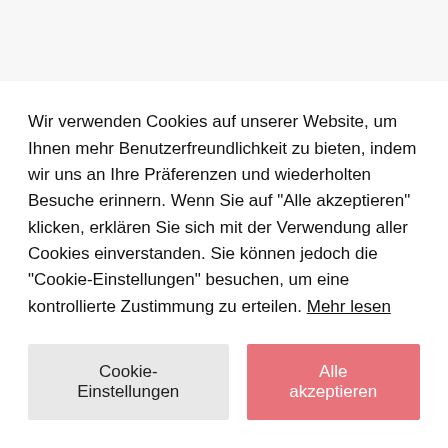[Figure (photo): Black image/banner area at top of page]
Low Carb Pizza mit Thunfischboden
Low Carb Pizza mit Thunfischboden Es gab
Wir verwenden Cookies auf unserer Website, um Ihnen mehr Benutzerfreundlichkeit zu bieten, indem wir uns an Ihre Präferenzen und wiederholten Besuche erinnern. Wenn Sie auf "Alle akzeptieren" klicken, erklären Sie sich mit der Verwendung aller Cookies einverstanden. Sie können jedoch die "Cookie-Einstellungen" besuchen, um eine kontrollierte Zustimmung zu erteilen. Mehr lesen
Cookie-Einstellungen
Alle akzeptieren